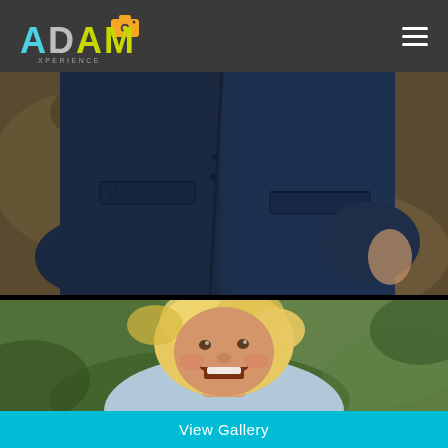[Figure (logo): ADAM Experience photography logo with camera icon]
[Figure (photo): Close-up of person in navy blue suit jacket, hands at sides, outdoor setting with autumn leaves in background]
[Figure (photo): Young blond boy laughing, wearing light blue shirt, outdoors with green bokeh background]
View Gallery